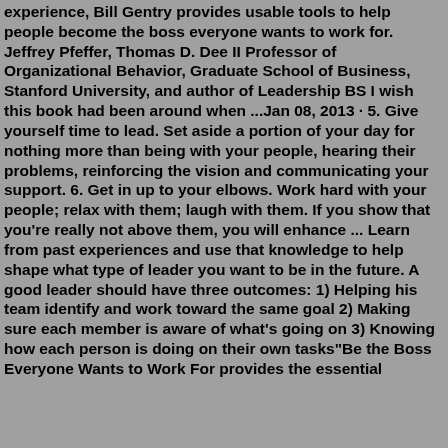experience, Bill Gentry provides usable tools to help people become the boss everyone wants to work for. Jeffrey Pfeffer, Thomas D. Dee II Professor of Organizational Behavior, Graduate School of Business, Stanford University, and author of Leadership BS I wish this book had been around when ...Jan 08, 2013 · 5. Give yourself time to lead. Set aside a portion of your day for nothing more than being with your people, hearing their problems, reinforcing the vision and communicating your support. 6. Get in up to your elbows. Work hard with your people; relax with them; laugh with them. If you show that you're really not above them, you will enhance ... Learn from past experiences and use that knowledge to help shape what type of leader you want to be in the future. A good leader should have three outcomes: 1) Helping his team identify and work toward the same goal 2) Making sure each member is aware of what's going on 3) Knowing how each person is doing on their own tasks"Be the Boss Everyone Wants to Work For provides the essential